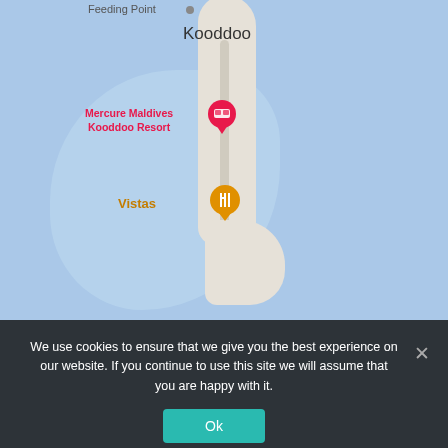[Figure (map): Google Maps screenshot showing Kooddoo island (Maldives) with markers for Mercure Maldives Kooddoo Resort (pink hotel pin) and Vistas restaurant (orange food pin). The island is shown in light beige against a light blue ocean/lagoon background. Partial label 'Feeding Point' visible at top.]
We use cookies to ensure that we give you the best experience on our website. If you continue to use this site we will assume that you are happy with it.
Ok